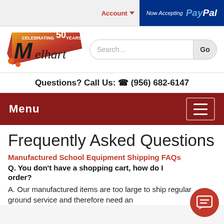Account  |  Now Accepting PayPal
[Figure (logo): Melhart Music Center logo celebrating 50 years, with stylized M and music notes on red/orange background]
Search...  Go
Questions? Call Us: (956) 682-6147
Menu
Frequently Asked Questions
Manufactured School Equipment Shipping FAQs
Q. You don't have a shopping cart, how do I order?
A. Our manufactured items are too large to ship regular ground service and therefore need an